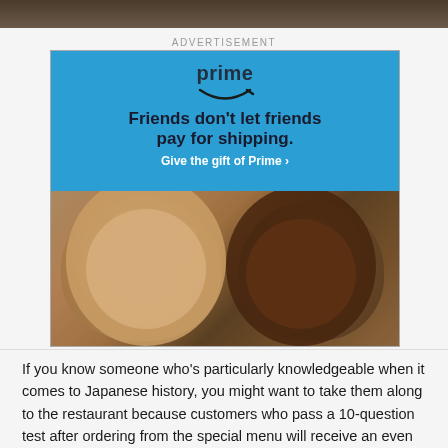[Figure (photo): Top portion of a photo, partially cropped at the top of the page]
ADVERTISEMENT
[Figure (infographic): Amazon Prime advertisement banner. Blue background with 'prime' text and smile/arrow logo. Headline: 'Friends don't let friends pay for shipping.' CTA: 'Give the gift of Prime ›'. Bottom half shows photo of two smiling women, one with light skin and wavy hair, one with dark skin and curly hair.]
If you know someone who's particularly knowledgeable when it comes to Japanese history, you might want to take them along to the restaurant because customers who pass a 10-question test after ordering from the special menu will receive an even more exclusive menu to order from. Now that's a great reason to brush up on our history studies!